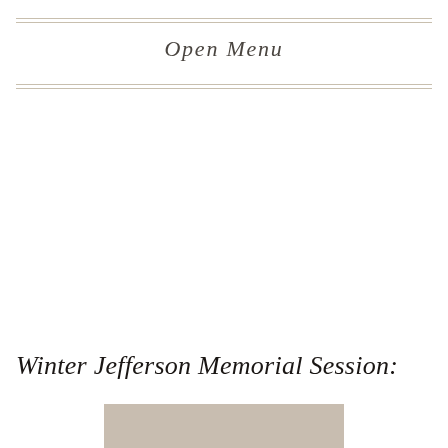Open Menu
Winter Jefferson Memorial Session:
[Figure (other): Tan/beige rectangular decorative block at the bottom center of the page]